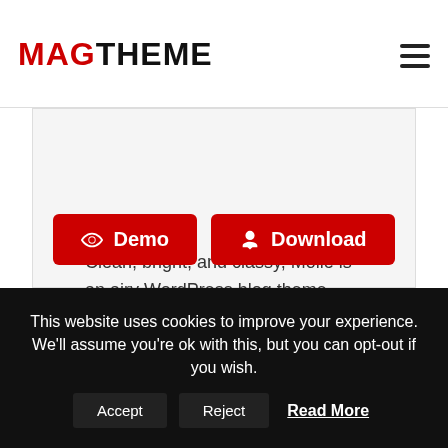MAGTHEME
Clean, bright, and classy, Molle is an airy WordPress blog theme designed to stage your content in structured elegance. The minimal style and color palette of this blog design means that the template will provide a structure that will work excellently for both business websites and blogs. Moreover, the easy readability will make it a
Demo  Download
This website uses cookies to improve your experience. We'll assume you're ok with this, but you can opt-out if you wish.  Accept  Reject  Read More